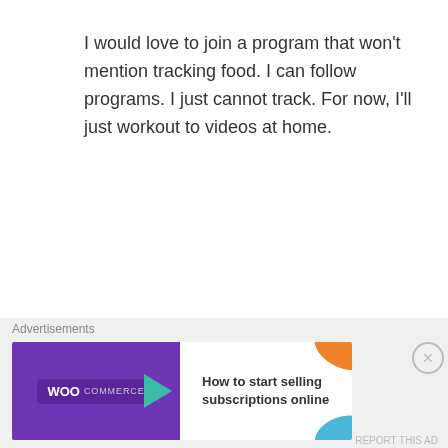I would love to join a program that won't mention tracking food. I can follow programs. I just cannot track. For now, I'll just workout to videos at home.
★ Like
maishaMORE
DECEMBER 12, 2013 AT 3:52 PM
You looked so beautiful in that dress honey. This
[Figure (other): WooCommerce advertisement banner: 'How to start selling subscriptions online']
Advertisements